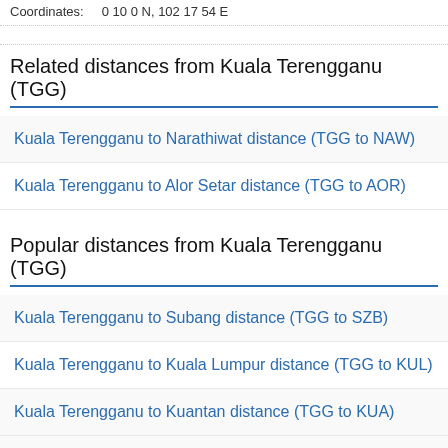Coordinates:    0 10 0 N; 102 17 54 E
Related distances from Kuala Terengganu (TGG)
Kuala Terengganu to Narathiwat distance (TGG to NAW)
Kuala Terengganu to Alor Setar distance (TGG to AOR)
Popular distances from Kuala Terengganu (TGG)
Kuala Terengganu to Subang distance (TGG to SZB)
Kuala Terengganu to Kuala Lumpur distance (TGG to KUL)
Kuala Terengganu to Kuantan distance (TGG to KUA)
Kuala T…
Kuala T…
[Figure (screenshot): Advertisement overlay: Book Your Airline Today. No Booking Fee, No Extra Cost, No Waiting, Discounts on Reservations within United States. bansaltravels.com. Learn More button.]